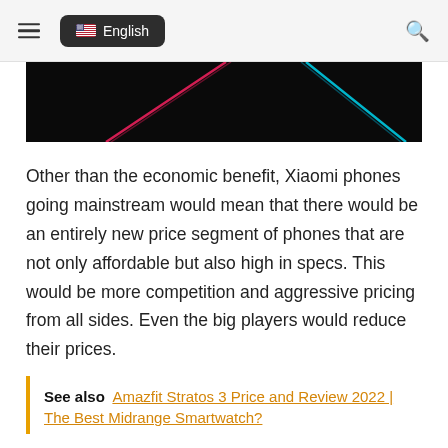English
[Figure (photo): Dark background image with colorful diagonal light streaks (pink/red and cyan/blue) on a black background.]
Other than the economic benefit, Xiaomi phones going mainstream would mean that there would be an entirely new price segment of phones that are not only affordable but also high in specs. This would be more competition and aggressive pricing from all sides. Even the big players would reduce their prices.
See also  Amazfit Stratos 3 Price and Review 2022 | The Best Midrange Smartwatch?